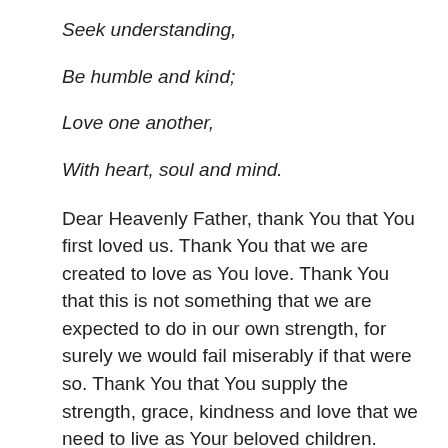Seek understanding,
Be humble and kind;
Love one another,
With heart, soul and mind.
Dear Heavenly Father, thank You that You first loved us. Thank You that we are created to love as You love. Thank You that this is not something that we are expected to do in our own strength, for surely we would fail miserably if that were so. Thank You that You supply the strength, grace, kindness and love that we need to live as Your beloved children.